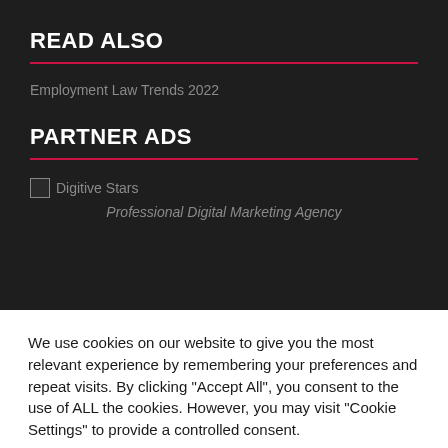READ ALSO
Employment Law Trends 2022
PARTNER ADS
[Figure (other): Broken image placeholder with label 'Digitive Stars']
Professional Digital Marketing Agency
We use cookies on our website to give you the most relevant experience by remembering your preferences and repeat visits. By clicking "Accept All", you consent to the use of ALL the cookies. However, you may visit "Cookie Settings" to provide a controlled consent.
Cookie Settings | Accept All